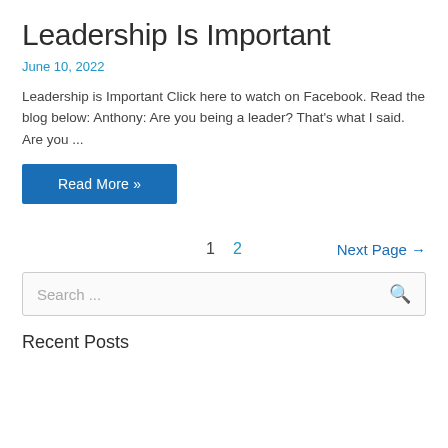Leadership Is Important
June 10, 2022
Leadership is Important Click here to watch on Facebook. Read the blog below: Anthony: Are you being a leader? That's what I said. Are you ...
Read More »
1  2  Next Page →
Search ...
Recent Posts